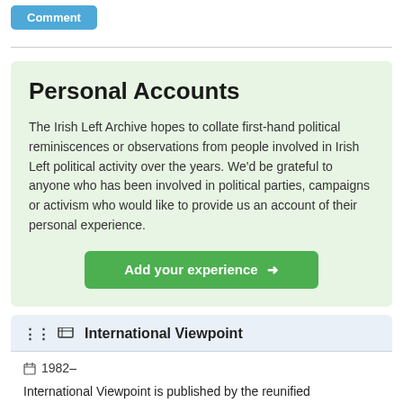[Figure (other): Blue Comment button]
Personal Accounts
The Irish Left Archive hopes to collate first-hand political reminiscences or observations from people involved in Irish Left political activity over the years. We'd be grateful to anyone who has been involved in political parties, campaigns or activism who would like to provide us an account of their personal experience.
[Figure (other): Green button: Add your experience →]
International Viewpoint
1982–
International Viewpoint is published by the reunified